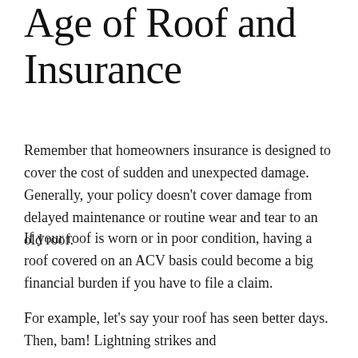Age of Roof and Insurance
Remember that homeowners insurance is designed to cover the cost of sudden and unexpected damage. Generally, your policy doesn't cover damage from delayed maintenance or routine wear and tear to an old roof.
If your roof is worn or in poor condition, having a roof covered on an ACV basis could become a big financial burden if you have to file a claim.
For example, let's say your roof has seen better days. Then, bam! Lightning strikes and